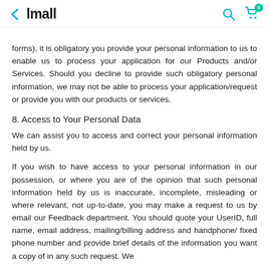< lmall [search icon] [cart icon with badge 0]
forms), it is obligatory you provide your personal information to us to enable us to process your application for our Products and/or Services. Should you decline to provide such obligatory personal information, we may not be able to process your application/request or provide you with our products or services.
8. Access to Your Personal Data
We can assist you to access and correct your personal information held by us.
If you wish to have access to your personal information in our possession, or where you are of the opinion that such personal information held by us is inaccurate, incomplete, misleading or where relevant, not up-to-date, you may make a request to us by email our Feedback department. You should quote your UserID, full name, email address, mailing/billing address and handphone/ fixed phone number and provide brief details of the information you want a copy of in any such request. We